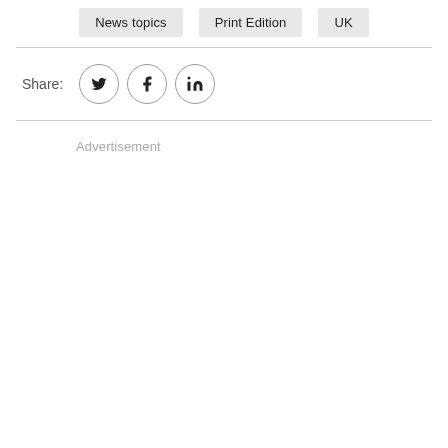News topics
Print Edition
UK
Share:
[Figure (other): Social share icons: Twitter (bird), Facebook (f), LinkedIn (in), displayed as circular outlined buttons]
Advertisement